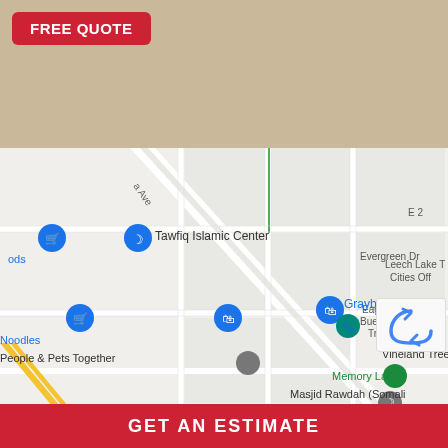[Figure (other): Top beige/tan colored banner area of a webpage]
FREE QUOTE
[Figure (map): Google Maps screenshot showing area around Tawfiq Islamic Center, Graybar, People & Pets Together, Vineland Tree Care, Memory Lanes, Masjid Rawdah (Somali Cultural Institute). Street labels include Evergreen Dr and E 2x. Blue shopping cart pins visible for Noodles and an unnamed store. Diagonal road visible.]
GET AN ESTIMATE